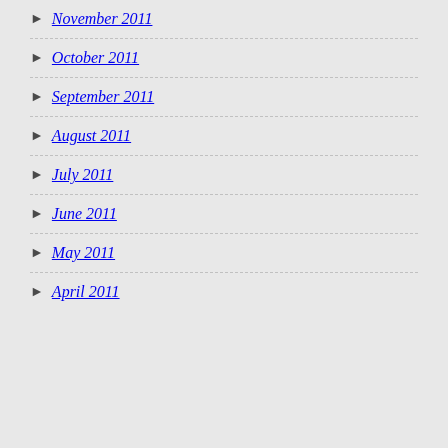November 2011
October 2011
September 2011
August 2011
July 2011
June 2011
May 2011
April 2011